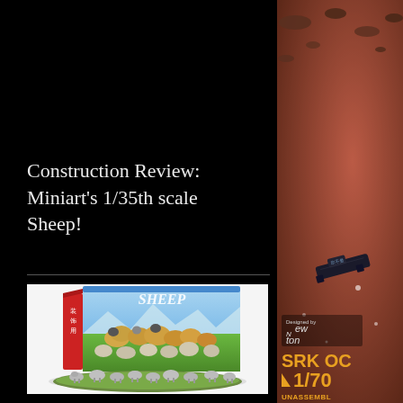Construction Review: Miniart's 1/35th scale Sheep!
[Figure (photo): Product photo of Miniart 1/35th scale Sheep model kit box showing sheep on green grass field, with unpainted grey plastic sheep figures arranged in front on a diorama base]
[Figure (photo): Right panel showing science fiction spacecraft/spaceship against a reddish-brown dusty background with debris, with Newton logo and SRK OC 1/70 UNASSEMBLED text at the bottom]